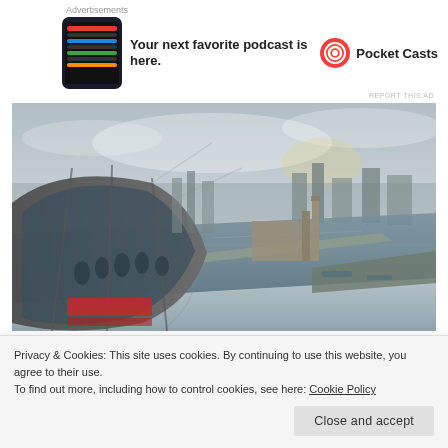Advertisements
[Figure (other): Advertisement banner: phone app screenshot on left, bold text 'Your next favorite podcast is here.' in center, Pocket Casts logo and brand name on right]
REPORT THIS AD
[Figure (photo): Aerial photograph of London showing the London Eye gondola in the foreground, the River Thames, Westminster Bridge, the Houses of Parliament, and the London cityscape under a cloudy sky]
Privacy & Cookies: This site uses cookies. By continuing to use this website, you agree to their use.
To find out more, including how to control cookies, see here: Cookie Policy
Close and accept